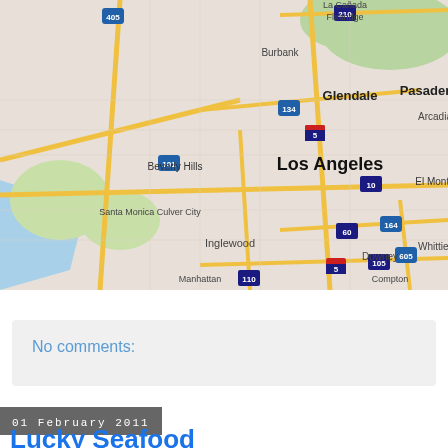[Figure (map): Google Maps view of Los Angeles area showing major highways (405, 101, 134, 5, 10, 60, 605, 105, 110, 210), cities including Burbank, Glendale, Pasadena, La Canada Flintridge, Arcadia, Beverly Hills, Santa Monica, Culver City, El Monte, Whittier, Inglewood, Downey, Compton, and Manhattan Beach area. Los Angeles is prominently labeled in bold.]
View Larger Map
No comments:
01 February 2011
Lucky Seafood